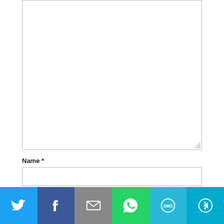[Figure (screenshot): A comment textarea input box (empty, resizable)]
Name *
[Figure (screenshot): Name text input field (empty)]
Email *
[Figure (screenshot): Email text input field (empty)]
ACCEPT  We use cookies to personalize our web content and analyze our traffic. We share this information with Skyline dealers who may combine it with information you provided them
[Figure (infographic): Social share bar with icons: Twitter (blue), Facebook (dark blue), Email (grey), WhatsApp (green), SMS (teal/cyan), More (teal)]